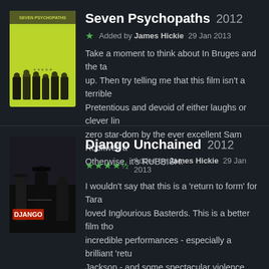Seven Psychopaths 2012
Added by James Hickie 29 Jan 2013
Take a moment to think about In Bruges and the ta... up. Then try telling me that this film isn't a terrible... Pretentious and devoid of either laughs or clever lin... zero star-dom by the ever excellent Sam Rockwell a... Otherwise, it's RUBBISH.
Django Unchained 2012
Added by James Hickie 29 Jan 2013
I wouldn't say that this is a 'return to form' for Tara... loved Inglourious Basterds. This is a better film tho... incredible performances - especially a brilliant 'retu... Jackson - and some spectacular violence. The runn... though.